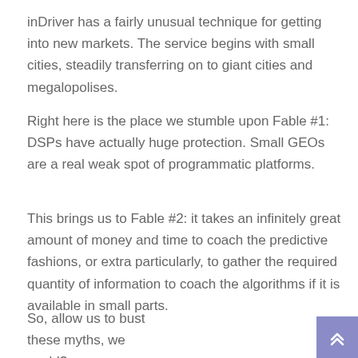inDriver has a fairly unusual technique for getting into new markets. The service begins with small cities, steadily transferring on to giant cities and megalopolises.
Right here is the place we stumble upon Fable #1: DSPs have actually huge protection. Small GEOs are a real weak spot of programmatic platforms.
This brings us to Fable #2: it takes an infinitely great amount of money and time to coach the predictive fashions, or extra particularly, to gather the required quantity of information to coach the algorithms if it is available in small parts.
So, allow us to bust these myths, we could?